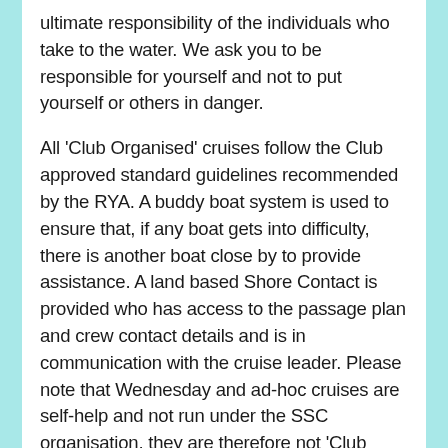ultimate responsibility of the individuals who take to the water. We ask you to be responsible for yourself and not to put yourself or others in danger.

All 'Club Organised' cruises follow the Club approved standard guidelines recommended by the RYA. A buddy boat system is used to ensure that, if any boat gets into difficulty, there is another boat close by to provide assistance. A land based Shore Contact is provided who has access to the passage plan and crew contact details and is in communication with the cruise leader. Please note that Wednesday and ad-hoc cruises are self-help and not run under the SSC organisation, they are therefore not 'Club Organised' cruises. The decision to participate and accept the risks involved in any cruise whether 'Club Organised' or not remains with